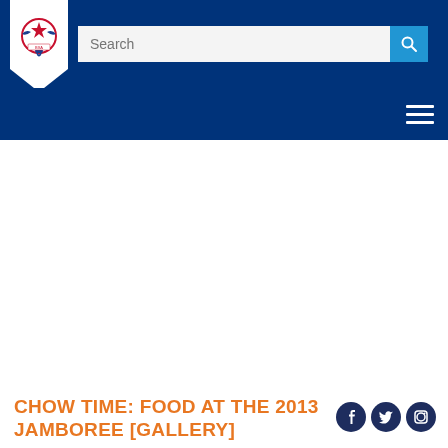Boy Scouts of America website header with logo, search bar, and hamburger menu
CHOW TIME: FOOD AT THE 2013 JAMBOREE [GALLERY]